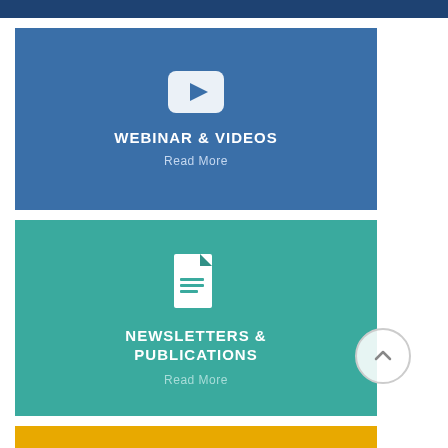[Figure (infographic): Dark navy blue horizontal bar at top of page, partially cropped]
[Figure (infographic): Blue card with YouTube-style play button icon, title WEBINAR & VIDEOS, and Read More link]
[Figure (infographic): Teal card with document icon, title NEWSLETTERS & PUBLICATIONS, and Read More link, with scroll-up arrow button overlapping right edge]
[Figure (infographic): Gold/yellow horizontal bar at bottom, partially cropped]